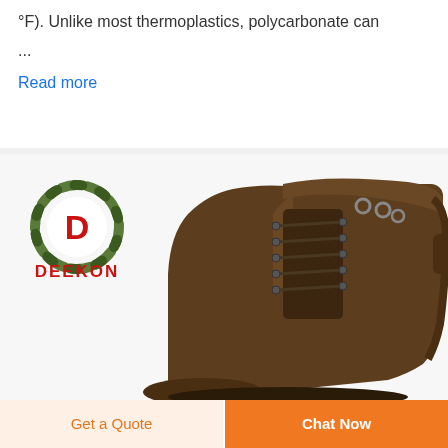°F). Unlike most thermoplastics, polycarbonate can
...
Read more
[Figure (logo): DEEKON brand logo with circular camouflage pattern and red D letter in center, with red DEEKON text below]
[Figure (photo): Brown leather lace-up ankle boot with dark laces and metal eyelets, shown from the side on white background]
Get a Quote
Chat Now